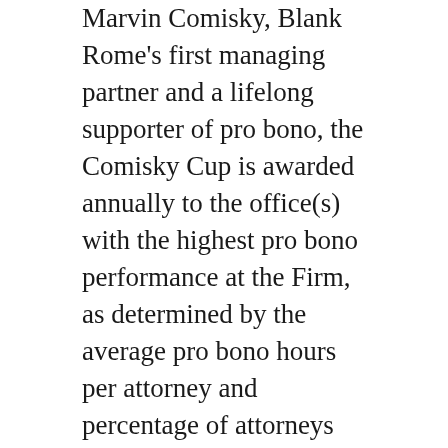Marvin Comisky, Blank Rome's first managing partner and a lifelong supporter of pro bono, the Comisky Cup is awarded annually to the office(s) with the highest pro bono performance at the Firm, as determined by the average pro bono hours per attorney and percentage of attorneys doing more than 20 hours of pro bono work per year.
The Firm's Princeton office, which in 2018 was named The American Lawyer's Regional Litigation Department of the Year as well as Law360's New Jersey Powerhouse, maintained its strong commitment to pro bono last year through impactful work on significant pro bono civil rights cases. For example, a Princeton pro bono litigation team handled